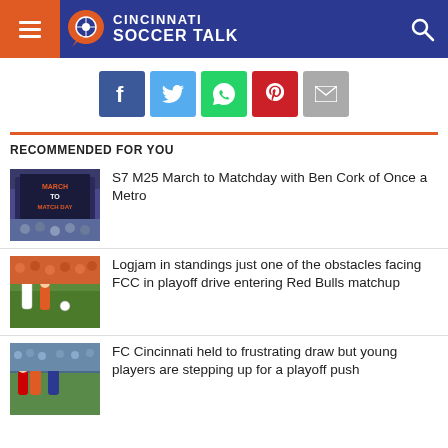Cincinnati Soccer Talk
[Figure (infographic): Social share buttons: Facebook, Twitter, WhatsApp, Pinterest, Email]
RECOMMENDED FOR YOU
[Figure (photo): S7 M25 March to Matchday billboard with crowd]
S7 M25 March to Matchday with Ben Cork of Once a Metro
[Figure (photo): Soccer players on field, FCC vs Red Bulls]
Logjam in standings just one of the obstacles facing FCC in playoff drive entering Red Bulls matchup
[Figure (photo): FC Cincinnati match photo]
FC Cincinnati held to frustrating draw but young players are stepping up for a playoff push